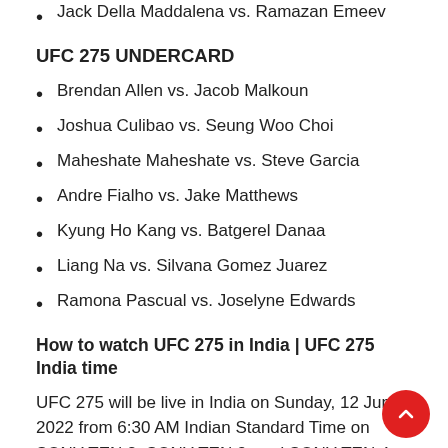Jack Della Maddalena vs. Ramazan Emeev
UFC 275 UNDERCARD
Brendan Allen vs. Jacob Malkoun
Joshua Culibao vs. Seung Woo Choi
Maheshate Maheshate vs. Steve Garcia
Andre Fialho vs. Jake Matthews
Kyung Ho Kang vs. Batgerel Danaa
Liang Na vs. Silvana Gomez Juarez
Ramona Pascual vs. Joselyne Edwards
How to watch UFC 275 in India | UFC 275 India time
UFC 275 will be live in India on Sunday, 12 June 2022 from 6:30 AM Indian Standard Time on SONY TEN 2, SONY TEN 3, and SONY TEN 4. The event can also be streamed on the SONY LIV app.